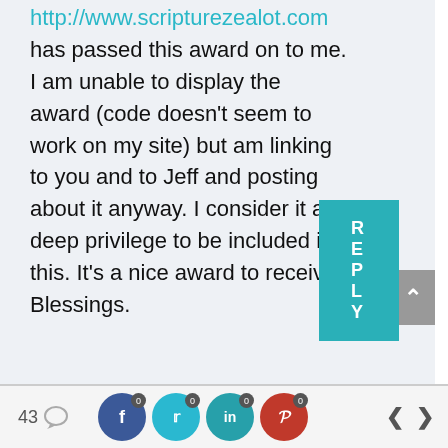http://www.scripturezealot.com has passed this award on to me. I am unable to display the award (code doesn't seem to work on my site) but am linking to you and to Jeff and posting about it anyway. I consider it a deep privilege to be included in this. It's a nice award to receive. Blessings.
[Figure (screenshot): REPLY button (teal/green color)]
[Figure (screenshot): Bottom toolbar with comment count (43), speech bubble icon, Facebook, Twitter, LinkedIn, Pinterest social share buttons each with badge count 0, and left/right navigation arrows]